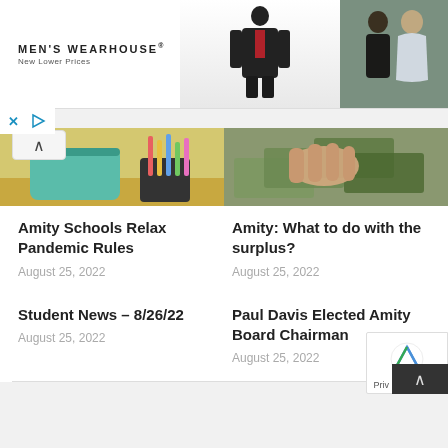[Figure (screenshot): Men's Wearhouse advertisement banner with logo on left, suit mannequin in center, and couple in formal wear on right]
[Figure (photo): School supplies on desk - pencil case and pencil holder with pencils]
[Figure (photo): Hands counting dollar bills / money]
Amity Schools Relax Pandemic Rules
August 25, 2022
Amity:  What to do with the surplus?
August 25, 2022
Student News – 8/26/22
August 25, 2022
Paul Davis Elected Amity Board Chairman
August 25, 2022